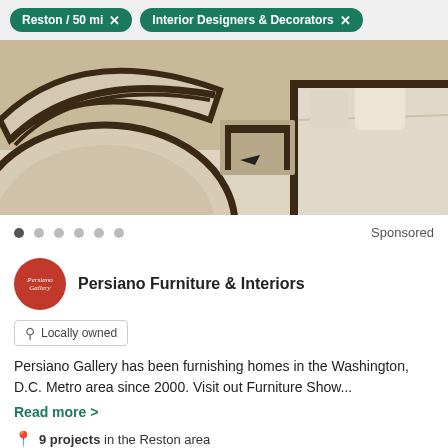Reston / 50 mi  ×    Interior Designers & Decorators  ×
[Figure (photo): Interior furniture photo showing cream/beige upholstered chairs with dark wood frame accents]
Sponsored
Persiano Furniture & Interiors
Locally owned
Persiano Gallery has been furnishing homes in the Washington, D.C. Metro area since 2000. Visit out Furniture Show...
Read more >
9 projects in the Reston area